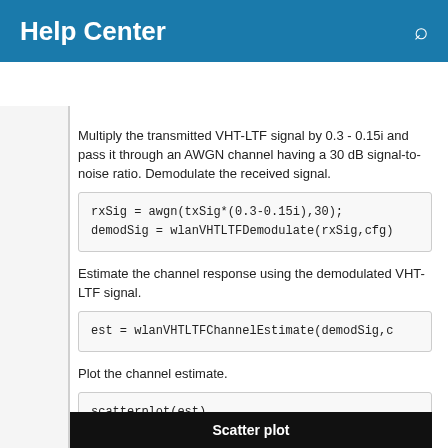Help Center
Resources ▼
Multiply the transmitted VHT-LTF signal by 0.3 - 0.15i and pass it through an AWGN channel having a 30 dB signal-to-noise ratio. Demodulate the received signal.
rxSig = awgn(txSig*(0.3-0.15i),30);
demodSig = wlanVHTLTFDemodulate(rxSig,cfg)
Estimate the channel response using the demodulated VHT-LTF signal.
est = wlanVHTLTFChannelEstimate(demodSig,c
Plot the channel estimate.
scatterplot(est)
grid
Scatter plot